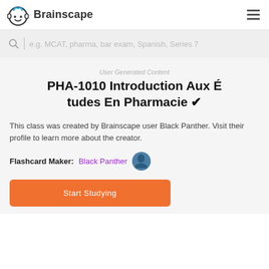Brainscape
e.g. MCAT, pharma, bar exam, Spanish, Series 7
User Generated Content
PHA-1010 Introduction Aux Études En Pharmacie ✔
This class was created by Brainscape user Black Panther. Visit their profile to learn more about the creator.
Flashcard Maker:  Black Panther
Start Studying